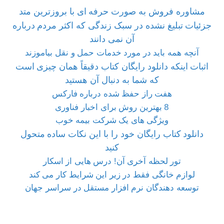مشاوره فروش به صورت حرفه ای با بروزترین متد
جزئیات تبلیغ نشده در سبک زندگی که اکثر مردم درباره آن نمی دانند
آنچه همه باید در مورد خدمات حمل و نقل بیاموزند
اثبات اینکه دانلود رایگان کتاب دقیقاً همان چیزی است که شما به دنبال آن هستید
هفت راز حفظ شده درباره فارکس
8 بهترین روش برای اخبار فناوری
ویژگی های یک شرکت بیمه خوب
دانلود کتاب رایگان خود را با این نکات ساده متحول کنید
تور لحظه آخری آن! درس هایی از اسکار
لوازم خانگی فقط در زیر این شرایط کار می کند
توسعه دهندگان نرم افزار مستقل در سراسر جهان